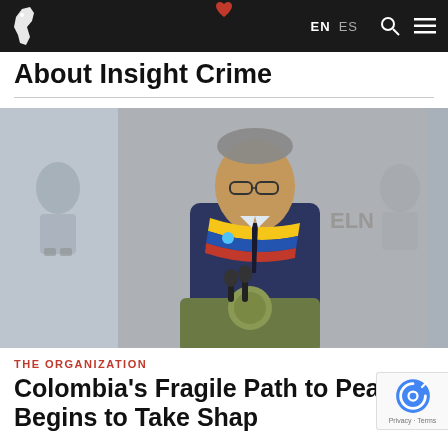About Insight Crime
[Figure (photo): Colombian President Gustavo Petro speaking at a podium with Colombian presidential sash (yellow, blue, red), wearing a dark suit with glasses. Behind him is a grey illustrated mural showing figures and the letters 'ELN'. On the left side of the image, a faded background shows another illustrated figure.]
THE ORGANIZATION
Colombia's Fragile Path to Peace Begins to Take Shape